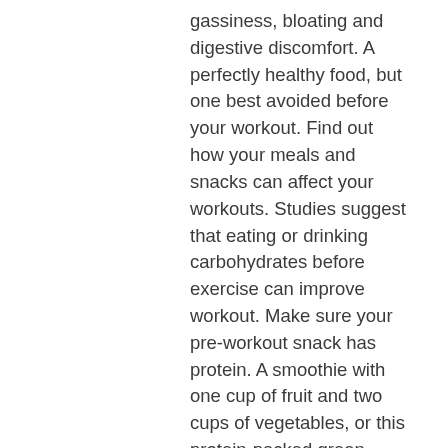gassiness, bloating and digestive discomfort. A perfectly healthy food, but one best avoided before your workout. Find out how your meals and snacks can affect your workouts. Studies suggest that eating or drinking carbohydrates before exercise can improve workout. Make sure your pre-workout snack has protein. A smoothie with one cup of fruit and two cups of vegetables, or this protein-packed green. Singh recommends simple snacks like an apple, banana, piece of toast, or a bagel. For longer or more arduous forms of exercise, your pre-. The right foods to eat before a workout should have amino acids, carbs, and plenty of protein. Here's what you should eat about 45 minutes. A protein smoothie · a piece of fruit and a small handful of nuts · one small tub of plain yoghurt with sliced. If you prefer to eat before exercising, or if your workout will last longer than an hour, seebohar